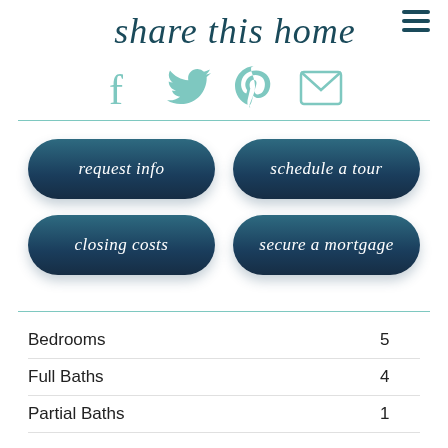share this home
[Figure (infographic): Social sharing icons: Facebook, Twitter, Pinterest, Email in teal color]
request info
schedule a tour
closing costs
secure a mortgage
|  |  |
| --- | --- |
| Bedrooms | 5 |
| Full Baths | 4 |
| Partial Baths | 1 |